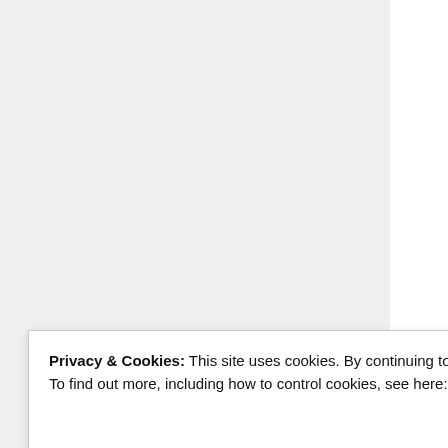the wealth pro... is not an evide...
The study was don...
Over a thirty-y... GDP per capita... the difference... homicides per... murder rate in... distribution of... significantly af... murders turn a... of zero effect o...
Why the mode... ancient Greeks...
Privacy & Cookies: This site uses cookies. By continuing to use this website, you agree to their use.
To find out more, including how to control cookies, see here: Cookie Policy
Close and accept